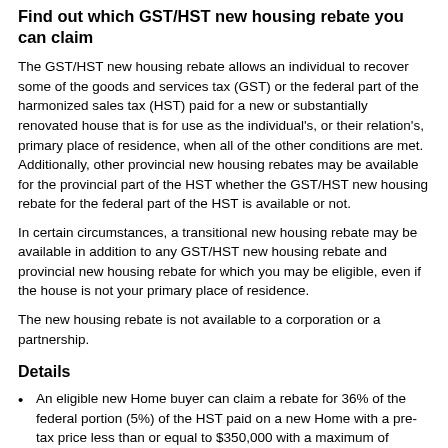Find out which GST/HST new housing rebate you can claim
The GST/HST new housing rebate allows an individual to recover some of the goods and services tax (GST) or the federal part of the harmonized sales tax (HST) paid for a new or substantially renovated house that is for use as the individual’s, or their relation’s, primary place of residence, when all of the other conditions are met. Additionally, other provincial new housing rebates may be available for the provincial part of the HST whether the GST/HST new housing rebate for the federal part of the HST is available or not.
In certain circumstances, a transitional new housing rebate may be available in addition to any GST/HST new housing rebate and provincial new housing rebate for which you may be eligible, even if the house is not your primary place of residence.
The new housing rebate is not available to a corporation or a partnership.
Details
An eligible new Home buyer can claim a rebate for 36% of the federal portion (5%) of the HST paid on a new Home with a pre-tax price less than or equal to $350,000 with a maximum of $6,300.
Where, the pre-tax price is more than $350,000, but less than $450,000 the amount will be reduced and the rebate then...